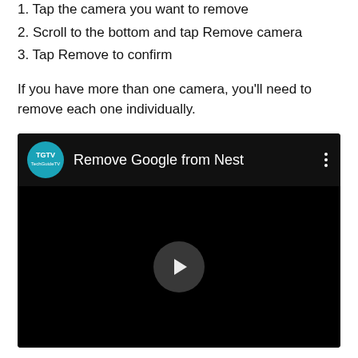1. Tap the camera you want to remove
2. Scroll to the bottom and tap Remove camera
3. Tap Remove to confirm
If you have more than one camera, you’ll need to remove each one individually.
[Figure (screenshot): YouTube-style video embed with TGTV channel icon, title 'Remove Google from Nest', three-dot menu, and a play button on a black video area.]